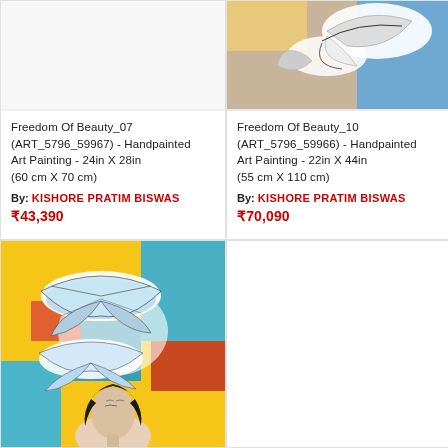[Figure (photo): Painting - butterflies with colorful abstract background, partial view at top]
Freedom Of Beauty_07 (ART_5796_59967) - Handpainted Art Painting - 24in X 28in (60 cm X 70 cm)
By: KISHORE PRATIM BISWAS
₹43,390
[Figure (photo): Painting - white and blue butterfly on colorful abstract background, partial view at top]
Freedom Of Beauty_10 (ART_5796_59966) - Handpainted Art Painting - 22in X 44in (55 cm X 110 cm)
By: KISHORE PRATIM BISWAS
₹70,090
[Figure (photo): Painting - woman with butterflies on yellow and blue abstract background]